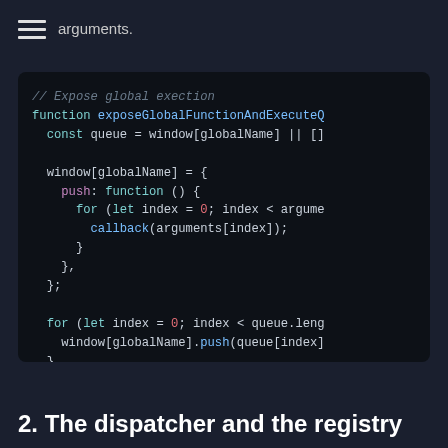arguments.
[Figure (screenshot): JavaScript code block showing a function exposeGlobalFunctionAndExecuteQ that creates a queue from window[globalName] or [], reassigns window[globalName] with a push function that loops through arguments calling callback, then iterates through the queue calling window[globalName].push(queue[index])]
2. The dispatcher and the registry